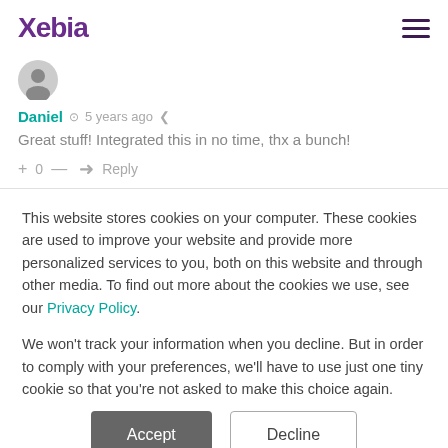Xebia
[Figure (illustration): Gray circular avatar icon with a silhouette person placeholder]
Daniel  5 years ago
Great stuff! Integrated this in no time, thx a bunch!
+ 0 —   Reply
This website stores cookies on your computer. These cookies are used to improve your website and provide more personalized services to you, both on this website and through other media. To find out more about the cookies we use, see our Privacy Policy.
We won't track your information when you decline. But in order to comply with your preferences, we'll have to use just one tiny cookie so that you're not asked to make this choice again.
Accept   Decline